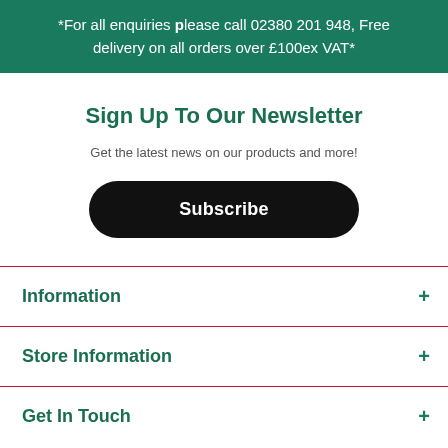*For all enquiries please call 02380 201 948, Free delivery on all orders over £100ex VAT*
Sign Up To Our Newsletter
Get the latest news on our products and more!
Subscribe
Information
Store Information
Get In Touch